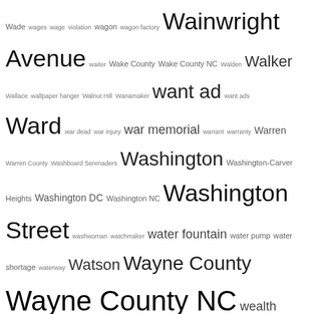Wade wages wage violation wagon wagon factory Wainwright Avenue waiter Wake County Wake County NC Walden Walker Wallace wallpaper hanger Walnut Hill Wanamaker want ad want ads Ward war dead war injury war memorial warrant warranty Warren Warren County Washboard Serenaders Washington Washington-Carver Heights Washington DC Washington NC Washington Street washwoman watchmaker water fountain water pump water shortage waterway Watson Wayne County Wayne County NC wealth weather Weathers Weaver Webb webinar wedding wedding anniversary wedding venue Weeks welfare well well digger Wellington Wells Western Reserve University Western Union West Lee Street West Nash Street West Point WGTM Wheeler whipping whiskey whist club Whitaker White Whitehead White Oak White Oak Swamp white only Whitesboro NJ white supremacy Whitfield Whitley Whitney Whittakers Who's Who whooping cough widow widow's pension Wiggins Wiggins Mill Wiggins Street Wilbanks community Wilberforce University Wilder wildlife